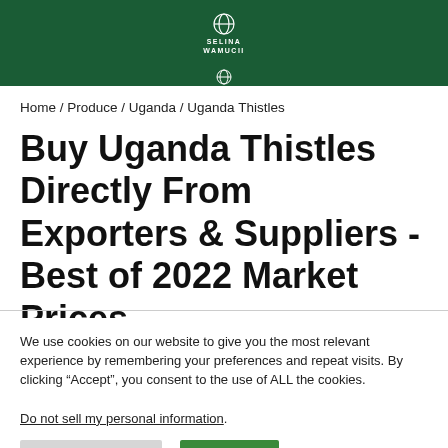SELINA WAMUCII
Home / Produce / Uganda / Uganda Thistles
Buy Uganda Thistles Directly From Exporters & Suppliers - Best of 2022 Market Prices
We use cookies on our website to give you the most relevant experience by remembering your preferences and repeat visits. By clicking “Accept”, you consent to the use of ALL the cookies.
Do not sell my personal information.